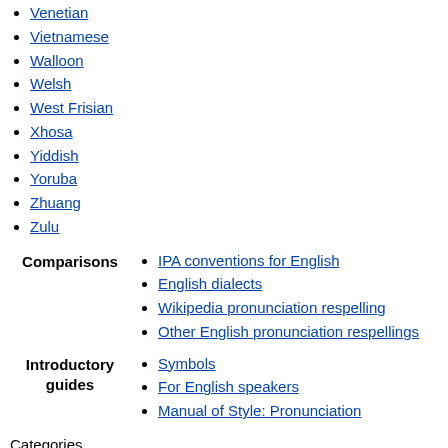Venetian
Vietnamese
Walloon
Welsh
West Frisian
Xhosa
Yiddish
Yoruba
Zhuang
Zulu
Comparisons
IPA conventions for English
English dialects
Wikipedia pronunciation respelling
Other English pronunciation respellings
Introductory guides
Symbols
For English speakers
Manual of Style: Pronunciation
Categories
Categories:
International Phonetic Alphabet help